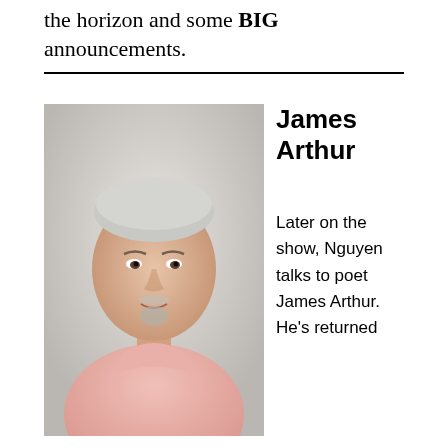the horizon and some BIG announcements.
[Figure (photo): Portrait photo of a man with short gray hair, goatee, wearing a pink button-up shirt, light gray background]
James Arthur
Later on the show, Nguyen talks to poet James Arthur. He's returned